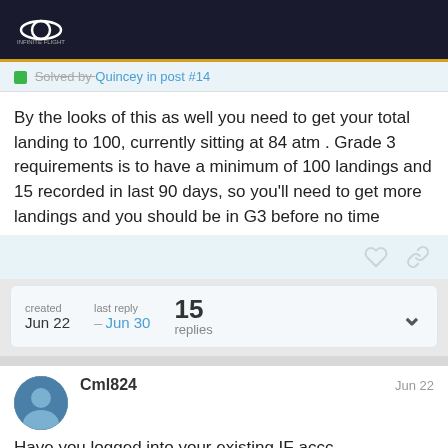Infinite Flight Community Forum
Solved by Quincey in post #14
By the looks of this as well you need to get your total landing to 100, currently sitting at 84 atm . Grade 3 requirements is to have a minimum of 100 landings and 15 recorded in last 90 days, so you'll need to get more landings and you should be in G3 before no time
created Jun 22  last reply Jun 30  15 replies
Cml824  Jun 22
Have you logged into your existing IF accc been using before re-installing?
1 / 16